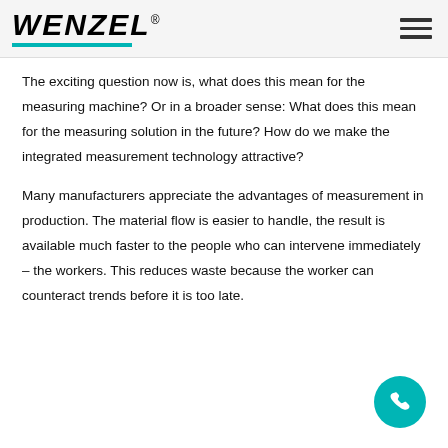WENZEL®
The exciting question now is, what does this mean for the measuring machine? Or in a broader sense: What does this mean for the measuring solution in the future? How do we make the integrated measurement technology attractive?
Many manufacturers appreciate the advantages of measurement in production. The material flow is easier to handle, the result is available much faster to the people who can intervene immediately – the workers. This reduces waste because the worker can counteract trends before it is too late.